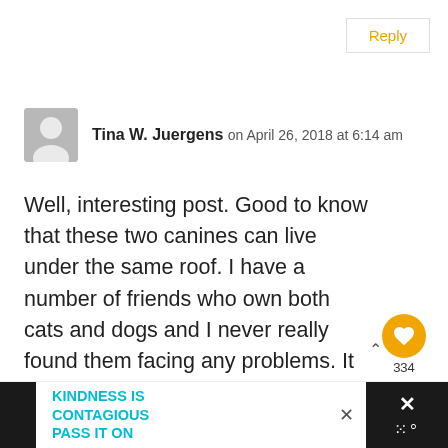Reply
Tina W. Juergens on April 26, 2018 at 6:14 am
Well, interesting post. Good to know that these two canines can live under the same roof. I have a number of friends who own both cats and dogs and I never really found them facing any problems. It is true that we have misconceptions probably because of the influence of Tom and Jerry but, h in the end, they made peace too
334
KINDNESS IS CONTAGIOUS PASS IT ON